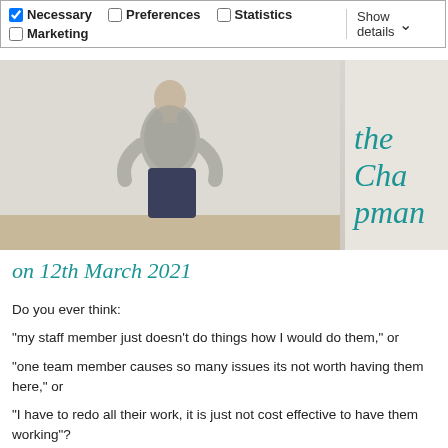Necessary [checked] | Preferences [unchecked] | Statistics [unchecked] | Marketing [unchecked] | Show details
[Figure (photo): Person standing with hands on hips, viewed from behind, in a white room with wooden floor]
the Chapman
on 12th March 2021
Do you ever think:
“my staff member just doesn’t do things how I would do them,” or
“one team member causes so many issues its not worth having them here,” or
“I have to redo all their work, it is just not cost effective to have them working”?
The first step is you need to speak to them about it, so they know that they are falling short of your